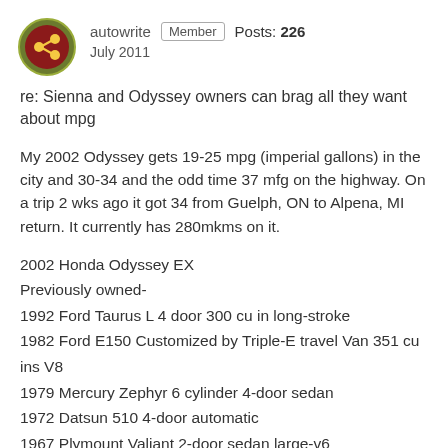autowrite  Member  Posts: 226  July 2011
re: Sienna and Odyssey owners can brag all they want about mpg
My 2002 Odyssey gets 19-25 mpg (imperial gallons) in the city and 30-34 and the odd time 37 mfg on the highway. On a trip 2 wks ago it got 34 from Guelph, ON to Alpena, MI return. It currently has 280mkms on it.
2002 Honda Odyssey EX
Previously owned-
1992 Ford Taurus L 4 door 300 cu in long-stroke
1982 Ford E150 Customized by Triple-E travel Van 351 cu ins V8
1979 Mercury Zephyr 6 cylinder 4-door sedan
1972 Datsun 510 4-door automatic
1967 Plymount Valiant 2-door sedan large-v6
1965 Morris 1100
1963 Austin 850 mini